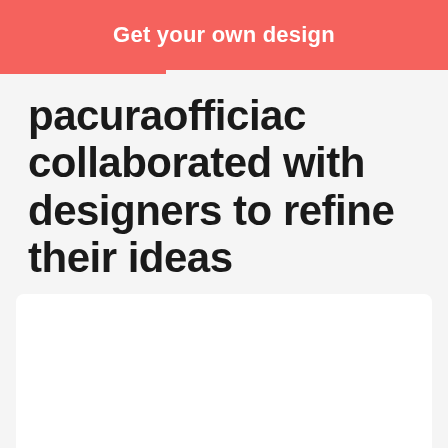[Figure (other): Red button/banner with text 'Get your own design' in white bold font]
pacuraofficiac collaborated with designers to refine their ideas
[Figure (other): White card/panel area, mostly empty]